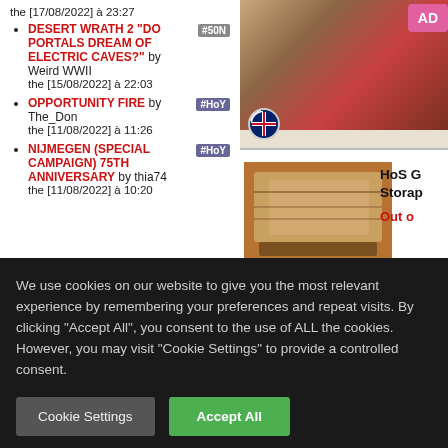the [17/08/2022] à 23:27
DESERT WRATH 2 "DO PORTALS DREAM OF ELECTRIC CAVES?" by Weird WWII the [15/08/2022] à 22:03
OPPORTUNITY FIRE by The_Don the [11/08/2022] à 11:26
NIJMEGEN (SPECIAL CAMPAIGN) 75TH ANNIVERSARY by thia74 the [11/08/2022] à 10:20
[Figure (photo): Product image top right - fantasy/wargame artwork with red tones, with British flag circle icon and pink AD button]
[Figure (photo): Product image bottom right - HoS G Storage product box image, with French and British flag circle icons]
HoS G Storap
Out o
We use cookies on our website to give you the most relevant experience by remembering your preferences and repeat visits. By clicking "Accept All", you consent to the use of ALL the cookies. However, you may visit "Cookie Settings" to provide a controlled consent.
Cookie Settings
Accept All